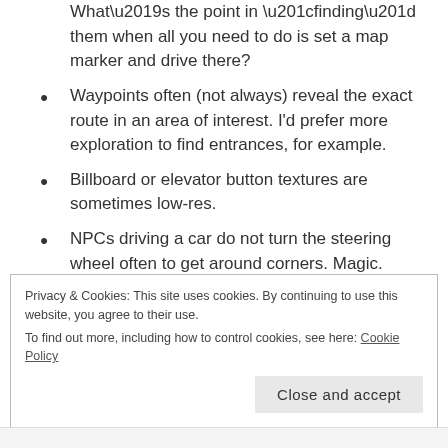What’s the point in “finding” them when all you need to do is set a map marker and drive there?
Waypoints often (not always) reveal the exact route in an area of interest. I’d prefer more exploration to find entrances, for example.
Billboard or elevator button textures are sometimes low-res.
NPCs driving a car do not turn the steering wheel often to get around corners. Magic.
Cars and pedestrians sometimes just appear or disappear right in front of you.
Privacy & Cookies: This site uses cookies. By continuing to use this website, you agree to their use.
To find out more, including how to control cookies, see here: Cookie Policy
Close and accept